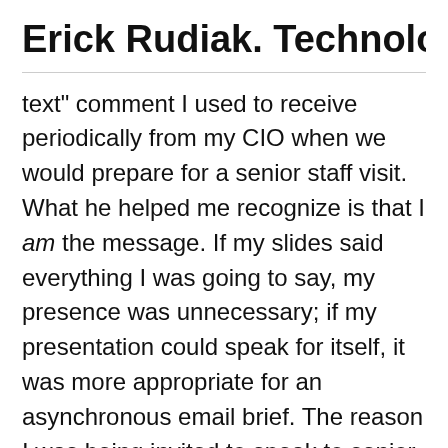Erick Rudiak. Technology Exe…
text" comment I used to receive periodically from my CIO when we would prepare for a senior staff visit. What he helped me recognize is that I am the message. If my slides said everything I was going to say, my presence was unnecessary; if my presentation could speak for itself, it was more appropriate for an asynchronous email brief. The reason I was being invited to speak to senior staff was that I was viewed as an expert, someone who would help my team